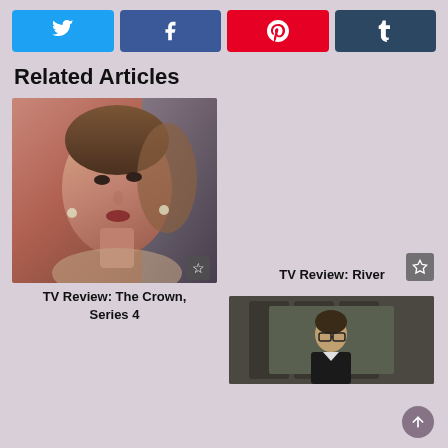[Figure (infographic): Social share buttons: Twitter (blue), Facebook (dark blue), Pinterest (red), Tumblr (dark slate)]
Related Articles
[Figure (photo): Photo of woman looking up, TV Review: The Crown, Series 4]
TV Review: The Crown, Series 4
TV Review: River
[Figure (photo): Partial photo of person in dark setting, bottom right article]